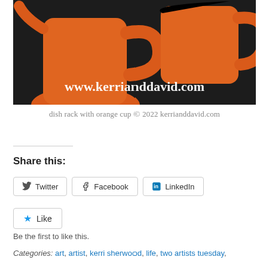[Figure (photo): Two orange watering cans or pitchers on a dark surface, with white bold text overlay reading 'www.kerrianddavid.com']
dish rack with orange cup © 2022 kerrianddavid.com
Share this:
Twitter  Facebook  LinkedIn
Like
Be the first to like this.
Categories: art, artist, kerri sherwood, life, two artists tuesday,